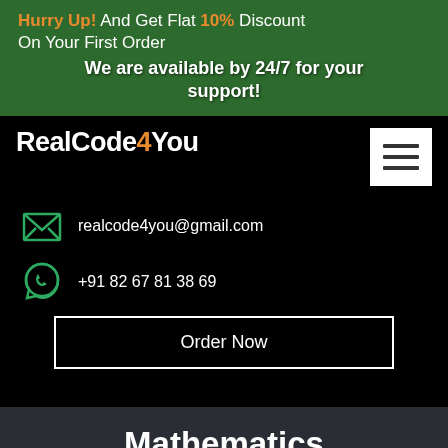Hurry Up! And Get Flat 10% Discount On Your First Order
We are available by 24/7 for your support!
RealCode4You
[Figure (other): Hamburger menu button (three horizontal lines icon on white background)]
realcode4you@gmail.com
+91 82 67 81 38 69
Order Now
Mathematics Assignment